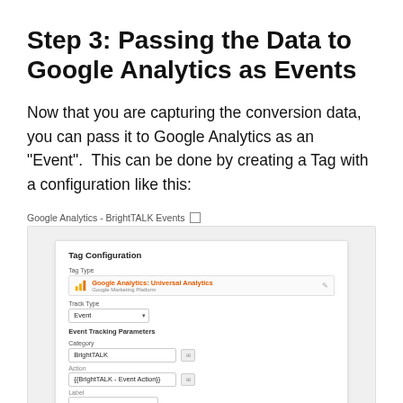Step 3: Passing the Data to Google Analytics as Events
Now that you are capturing the conversion data, you can pass it to Google Analytics as an "Event".  This can be done by creating a Tag with a configuration like this:
Google Analytics - BrightTALK Events
[Figure (screenshot): Screenshot of Google Tag Manager Tag Configuration panel showing a Google Analytics: Universal Analytics tag with Track Type set to Event, Event Tracking Parameters with Category: BrightTALK, Action: {{BrightTALK - Event Action}}, and a partial Label field.]